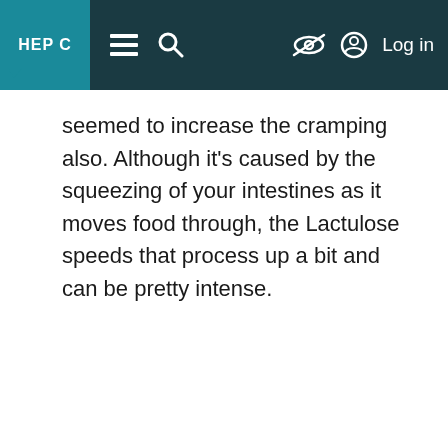HEP C [navigation bar with menu, search, hide, login icons]
seemed to increase the cramping also. Although it’s caused by the squeezing of your intestines as it moves food through, the Lactulose speeds that process up a bit and can be pretty intense.